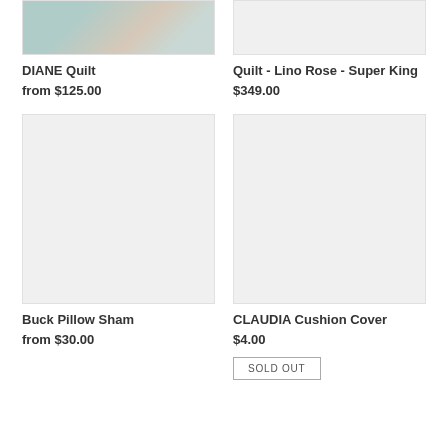[Figure (photo): DIANE Quilt product image - teal/grey floral quilt]
DIANE Quilt
from $125.00
[Figure (photo): Quilt - Lino Rose - Super King product image - blank/placeholder]
Quilt - Lino Rose - Super King
$349.00
[Figure (photo): Buck Pillow Sham product image - blank/placeholder]
Buck Pillow Sham
from $30.00
[Figure (photo): CLAUDIA Cushion Cover product image - blank/placeholder]
CLAUDIA Cushion Cover
$4.00
SOLD OUT